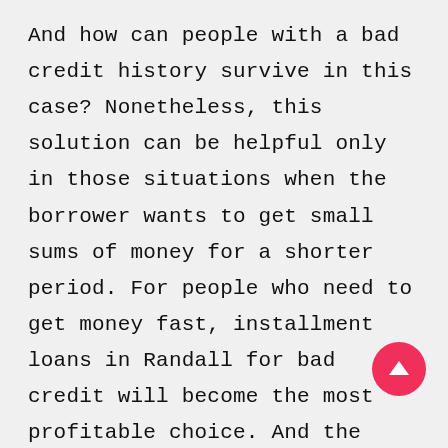And how can people with a bad credit history survive in this case? Nonetheless, this solution can be helpful only in those situations when the borrower wants to get small sums of money for a shorter period. For people who need to get money fast, installment loans in Randall for bad credit will become the most profitable choice. And the maximum sum that can be given to the borrowers via this option is bigger than payday loans, and it's about $10,000 . Furthermore, the borrower doesn't have to return the whole loan with one repayment. It's possible to cut it into several parts and pay off before the date required in the documents. They are usually issued for a period from 30 days to several